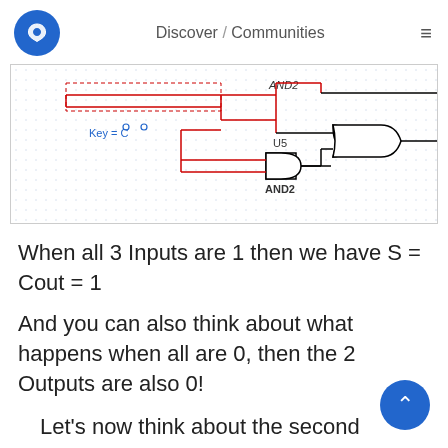Discover / Communities
[Figure (circuit-diagram): A logic circuit diagram showing AND2 and OR2 gates with a Key=C label. Components include U5 AND2 gate and OR2 gate connected with red wires on a dotted grid background.]
When all 3 Inputs are 1 then we have S = Cout = 1
And you can also think about what happens when all are 0, then the 2 Outputs are also 0!
Let's now think about the second implementation. If you think about the